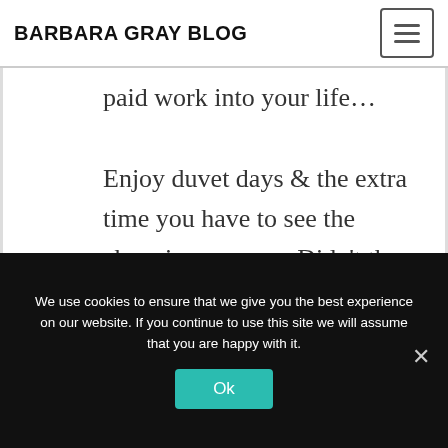BARBARA GRAY BLOG
paid work into your life… Enjoy duvet days & the extra time you have to see the changing seasons. Didn't the trees look beautiful covered in ice today & the snowdrops are bursting up too. Be assured it may be the end of one season
We use cookies to ensure that we give you the best experience on our website. If you continue to use this site we will assume that you are happy with it.